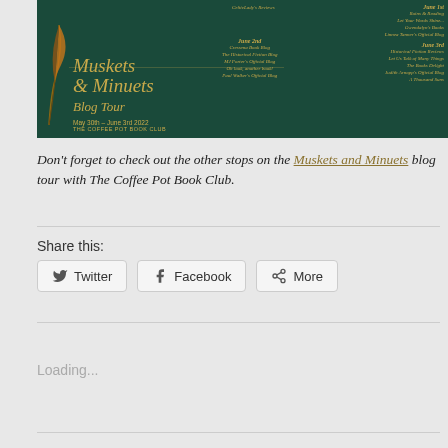[Figure (illustration): Blog tour banner for 'Muskets and Minuets' with dark green background, gold italic text, listing blog stops from May 30th to June 3rd 2022, presented by The Coffee Pot Book Club.]
Don't forget to check out the other stops on the Muskets and Minuets blog tour with The Coffee Pot Book Club.
Share this:
Twitter
Facebook
More
Loading...